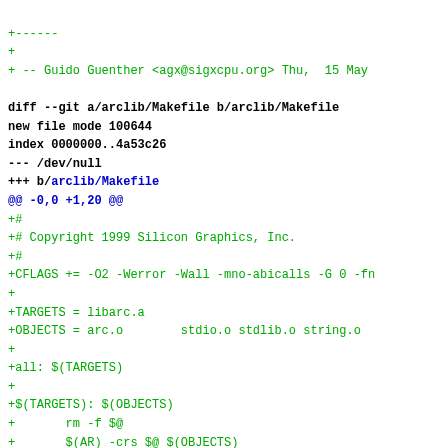+------
+
+ -- Guido Guenther <agx@sigxcpu.org> Thu,  15 May

diff --git a/arclib/Makefile b/arclib/Makefile
new file mode 100644
index 0000000..4a53c26
--- /dev/null
+++ b/arclib/Makefile
@@ -0,0 +1,20 @@
+#
+# Copyright 1999 Silicon Graphics, Inc.
+#
+CFLAGS += -O2 -Werror -Wall -mno-abicalls -G 0 -fn
++
+TARGETS = libarc.a
+OBJECTS = arc.o        stdio.o stdlib.o string.o
+
+all: $(TARGETS)
+
+$(TARGETS): $(OBJECTS)
+       rm -f $@
+       $(AR) -crs $@ $(OBJECTS)
+
+install: $(TARGETS)
+       install -d ${PREFIX}/${LIBDIR}
+       install -m 644 $< ${PREFIX}/${LIBDIR}
+
+clean:
+       rm -f libarc.a $(OBJECTS) *~ tags